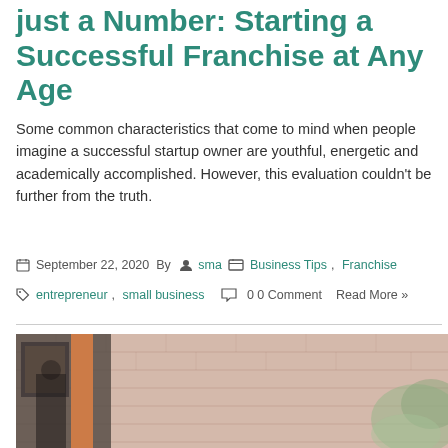Just a Number: Starting a Successful Franchise at Any Age
Some common characteristics that come to mind when people imagine a successful startup owner are youthful, energetic and academically accomplished. However, this evaluation couldn't be further from the truth.
September 22, 2020  By  sma   Business Tips, Franchise   entrepreneur, small business   0 0 Comment   Read More »
[Figure (photo): Blurred photo of a brick building exterior with a person standing in front, orange pillar visible, and greenery on the right side.]